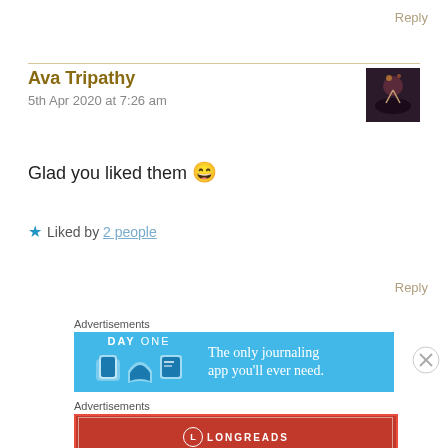Reply
Ava Tripathy
5th Apr 2020 at 7:26 am
[Figure (photo): Small avatar thumbnail showing a dark silhouette against a reddish/dark background]
Glad you liked them 😄
★ Liked by 2 people
Reply
Advertisements
[Figure (infographic): Day One journaling app advertisement banner with blue background showing app icons and text: The only journaling app you'll ever need.]
Advertisements
[Figure (infographic): Longreads advertisement with dark red background showing logo and tagline: The best stories on the web – ours, and everyone else's.]